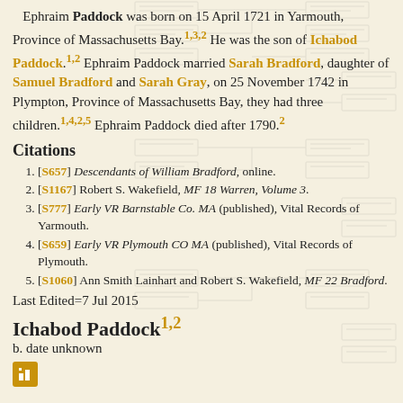Ephraim Paddock was born on 15 April 1721 in Yarmouth, Province of Massachusetts Bay.1,3,2 He was the son of Ichabod Paddock.1,2 Ephraim Paddock married Sarah Bradford, daughter of Samuel Bradford and Sarah Gray, on 25 November 1742 in Plympton, Province of Massachusetts Bay, they had three children.1,4,2,5 Ephraim Paddock died after 1790.2
Citations
[S657] Descendants of William Bradford, online.
[S1167] Robert S. Wakefield, MF 18 Warren, Volume 3.
[S777] Early VR Barnstable Co. MA (published), Vital Records of Yarmouth.
[S659] Early VR Plymouth CO MA (published), Vital Records of Plymouth.
[S1060] Ann Smith Lainhart and Robert S. Wakefield, MF 22 Bradford.
Last Edited=7 Jul 2015
Ichabod Paddock 1,2
b. date unknown